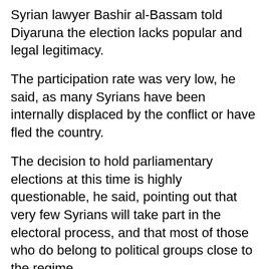Syrian lawyer Bashir al-Bassam told Diyaruna the election lacks popular and legal legitimacy.
The participation rate was very low, he said, as many Syrians have been internally displaced by the conflict or have fled the country.
The decision to hold parliamentary elections at this time is highly questionable, he said, pointing out that very few Syrians will take part in the electoral process, and that most of those who do belong to political groups close to the regime.
Thus the poll does not reflect the true will of the people, he said.
Al-Bassam noted that 1,656 candidates are standing for election, compared to 11,341 in